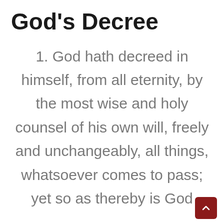God's Decree
1. God hath decreed in himself, from all eternity, by the most wise and holy counsel of his own will, freely and unchangeably, all things, whatsoever comes to pass; yet so as thereby is God